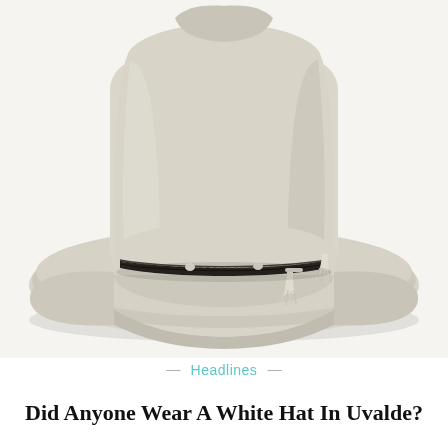[Figure (photo): A cream/off-white felt cowboy hat photographed from slightly above against a white background. The hat has a tall rounded crown with a pinch at the top, a wide flat brim, and a dark braided hat band with small cream-colored tassels.]
— Headlines —
Did Anyone Wear A White Hat In Uvalde?